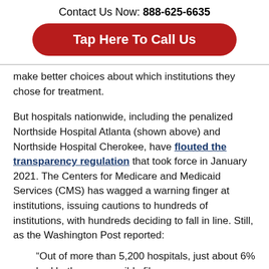Contact Us Now: 888-625-6635
Tap Here To Call Us
make better choices about which institutions they chose for treatment.
But hospitals nationwide, including the penalized Northside Hospital Atlanta (shown above) and Northside Hospital Cherokee, have flouted the transparency regulation that took force in January 2021. The Centers for Medicare and Medicaid Services (CMS) has wagged a warning finger at institutions, issuing cautions to hundreds of institutions, with hundreds deciding to fall in line. Still, as the Washington Post reported:
“Out of more than 5,200 hospitals, just about 6% had both an accessible file